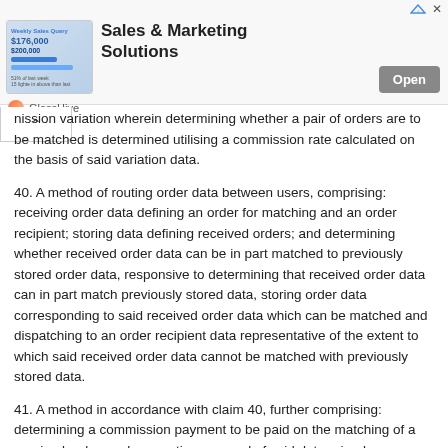[Figure (other): Advertisement banner for GlassHive Sales & Marketing Solutions with an Open button]
nission variation wherein determining whether a pair of orders are to be matched is determined utilising a commission rate calculated on the basis of said variation data.
40. A method of routing order data between users, comprising: receiving order data defining an order for matching and an order recipient; storing data defining received orders; and determining whether received order data can be in part matched to previously stored order data, responsive to determining that received order data can in part match previously stored data, storing order data corresponding to said received order data which can be matched and dispatching to an order recipient data representative of the extent to which said received order data cannot be matched with previously stored data.
41. A method in accordance with claim 40, further comprising: determining a commission payment to be paid on the matching of a received order; and generating a record of said determined commission and associating said record with said order recipient.